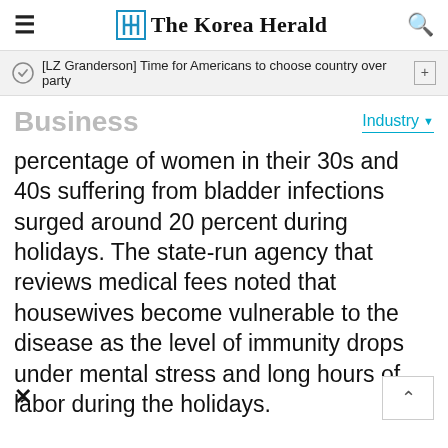The Korea Herald
[LZ Granderson] Time for Americans to choose country over party
Business
Industry
percentage of women in their 30s and 40s suffering from bladder infections surged around 20 percent during holidays. The state-run agency that reviews medical fees noted that housewives become vulnerable to the disease as the level of immunity drops under mental stress and long hours of labor during the holidays.